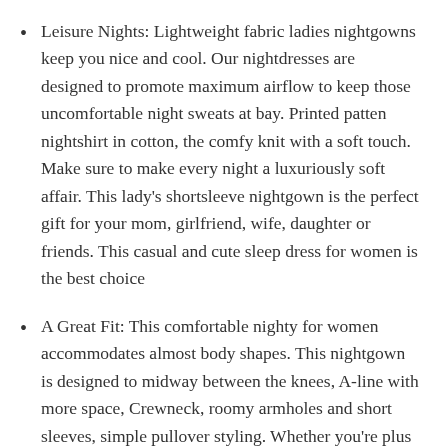Leisure Nights: Lightweight fabric ladies nightgowns keep you nice and cool. Our nightdresses are designed to promote maximum airflow to keep those uncomfortable night sweats at bay. Printed patten nightshirt in cotton, the comfy knit with a soft touch. Make sure to make every night a luxuriously soft affair. This lady's shortsleeve nightgown is the perfect gift for your mom, girlfriend, wife, daughter or friends. This casual and cute sleep dress for women is the best choice
A Great Fit: This comfortable nighty for women accommodates almost body shapes. This nightgown is designed to midway between the knees, A-line with more space, Crewneck, roomy armholes and short sleeves, simple pullover styling. Whether you're plus size, petite or somewhere in between, you ll find the perfect-fitting